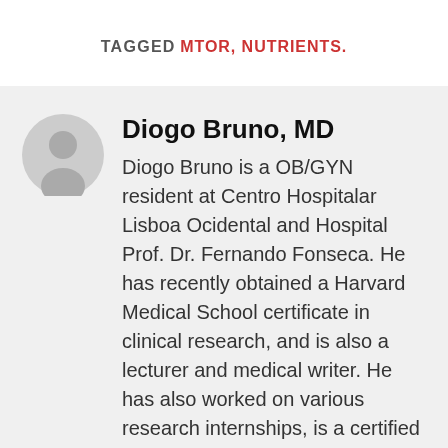TAGGED MTOR, NUTRIENTS.
Diogo Bruno, MD
Diogo Bruno is a OB/GYN resident at Centro Hospitalar Lisboa Ocidental and Hospital Prof. Dr. Fernando Fonseca. He has recently obtained a Harvard Medical School certificate in clinical research, and is also a lecturer and medical writer. He has also worked on various research internships, is a certified trainer and has presented works in gynecology and obstetrics at several key health